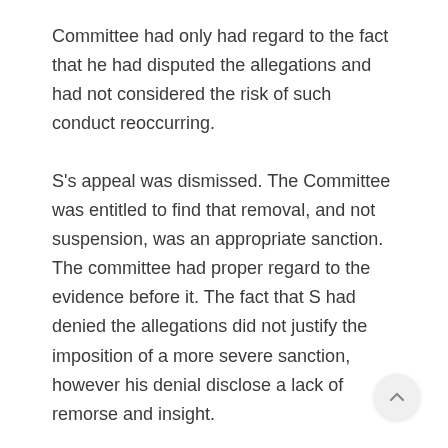Committee had only had regard to the fact that he had disputed the allegations and had not considered the risk of such conduct reoccurring.
S's appeal was dismissed. The Committee was entitled to find that removal, and not suspension, was an appropriate sanction. The committee had proper regard to the evidence before it. The fact that S had denied the allegations did not justify the imposition of a more severe sanction, however his denial disclose a lack of remorse and insight.